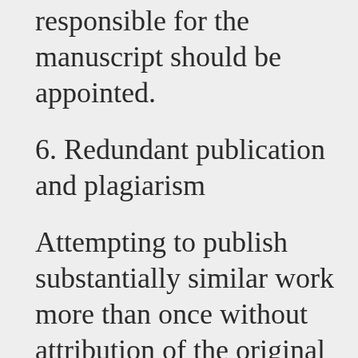responsible for the manuscript should be appointed.
6. Redundant publication and plagiarism
Attempting to publish substantially similar work more than once without attribution of the original source(s) is considered a redundant publication. Definition of being substantially similar can be